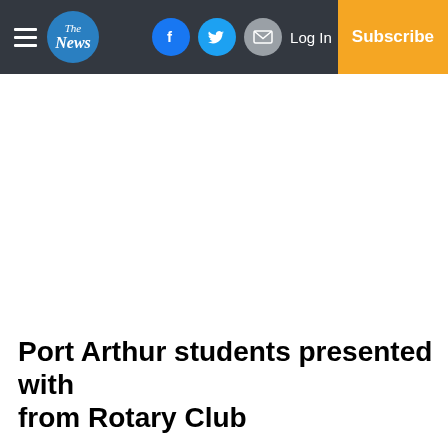The News — navigation bar with hamburger menu, logo, Facebook, Twitter, Mail icons, Log In, Subscribe
Port Arthur students presented with from Rotary Club